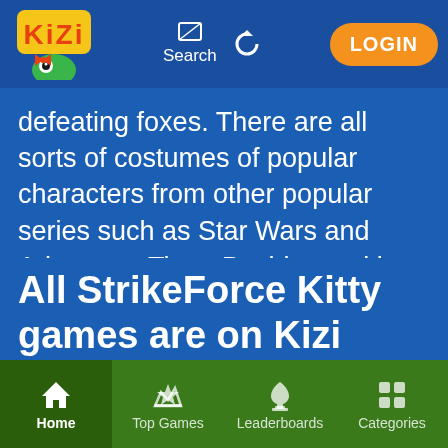[Figure (screenshot): Kizi website header with logo, search icon, refresh icon, and LOGIN button]
defeating foxes. There are all sorts of costumes of popular characters from other popular series such as Star Wars and Adventure Time. Besides making your cats look more chic, these costumes provide different advantages to your units with improved stats. Start your adventure with the first game of the series, StrikeForce Kitty 1.
All StrikeForce Kitty games are on Kizi
[Figure (screenshot): Bottom navigation bar with Home, Top Games, Leaderboards, Categories]